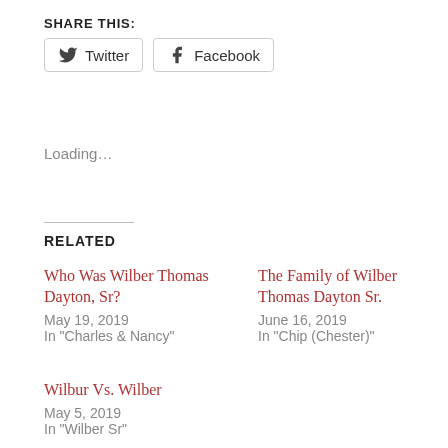SHARE THIS:
Twitter  Facebook
Loading…
RELATED
Who Was Wilber Thomas Dayton, Sr?
May 19, 2019
In "Charles & Nancy"
The Family of Wilber Thomas Dayton Sr.
June 16, 2019
In "Chip (Chester)"
Wilbur Vs. Wilber
May 5, 2019
In "Wilber Sr"